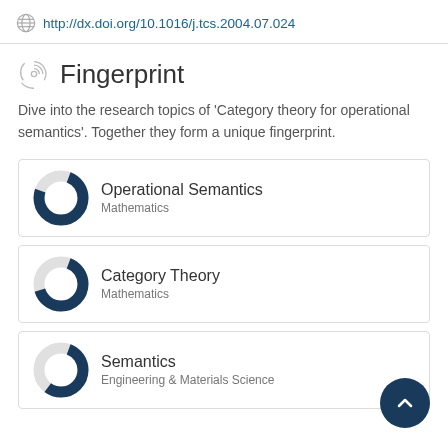http://dx.doi.org/10.1016/j.tcs.2004.07.024
Fingerprint
Dive into the research topics of 'Category theory for operational semantics'. Together they form a unique fingerprint.
[Figure (donut-chart): Donut chart showing partial fill for Operational Semantics - Mathematics]
Operational Semantics
Mathematics
[Figure (donut-chart): Donut chart showing partial fill for Category Theory - Mathematics]
Category Theory
Mathematics
[Figure (donut-chart): Donut chart showing partial fill for Semantics - Engineering & Materials Science]
Semantics
Engineering & Materials Science